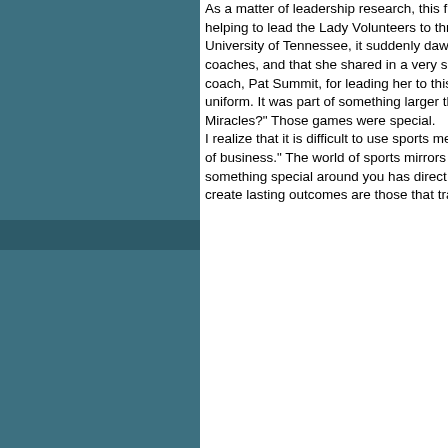As a matter of leadership research, this finding is simple in its simplicity, but compelling in its depth. Chamique Holdsclaw, who after helping to lead the Lady Volunteers to three straight NCAA championships, recalled a moment. While riding the bus back to the University of Tennessee, it suddenly dawned on her that this was her last ride as a champions' activity with her teammates and her coaches, and that she shared in a very special bonding experience that these are people she would know forever. She thanked her coach, Pat Summit, for leading her to this moment. Magic Johnson retired from the Los Angeles Lakers after 13 years wearing the uniform. It was part of something larger than being a player. The 1980 U. S. Olympic Hockey team still hears "Do you believe in Miracles?" Those games were special. I realize that it is difficult to use sports metaphors. A point made by critics of this process is, "What about the real world, the daily grind of business." The world of sports mirrors the business environment. If you pay close attention, it will stand out! The ability to create something special around you has direct application to any level of organization on this planet. The people, places and events that create lasting outcomes are those that transcend the ordinary. Leadership is about getting it done in